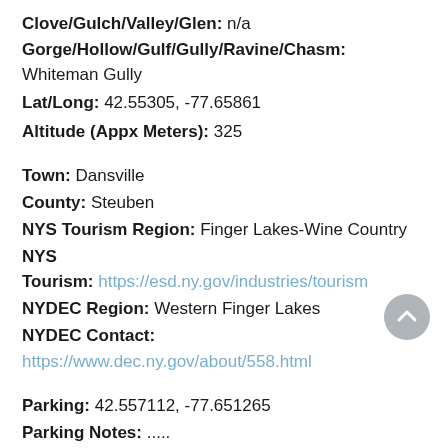Clove/Gulch/Valley/Glen: n/a
Gorge/Hollow/Gulf/Gully/Ravine/Chasm: Whiteman Gully
Lat/Long: 42.55305, -77.65861
Altitude (Appx Meters): 325
Town: Dansville
County: Steuben
NYS Tourism Region: Finger Lakes-Wine Country
NYS Tourism: https://esd.ny.gov/industries/tourism
NYDEC Region: Western Finger Lakes
NYDEC Contact: https://www.dec.ny.gov/about/558.html
Parking: 42.557112, -77.651265
Parking Notes: .....